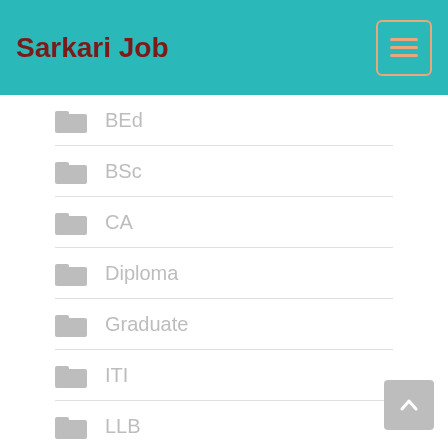Sarkari Job
BEd
BSc
CA
Diploma
Graduate
ITI
LLB
MA
MBA
MBBS